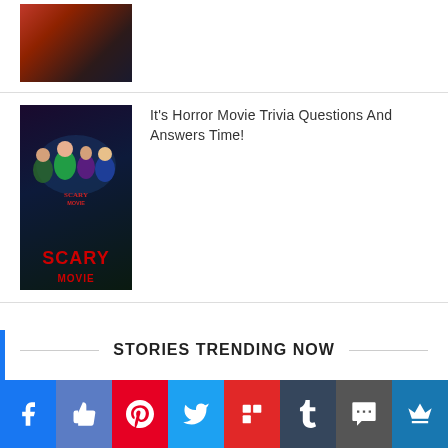[Figure (photo): Thumbnail image - dark reddish scene]
[Figure (photo): Scary Movie poster with characters against dark background, red SCARY title text]
It's Horror Movie Trivia Questions And Answers Time!
STORIES TRENDING NOW
[Figure (infographic): Social media share bar with icons: Facebook, Like, Pinterest, Twitter, Flipboard, Tumblr, SMS, Crown]